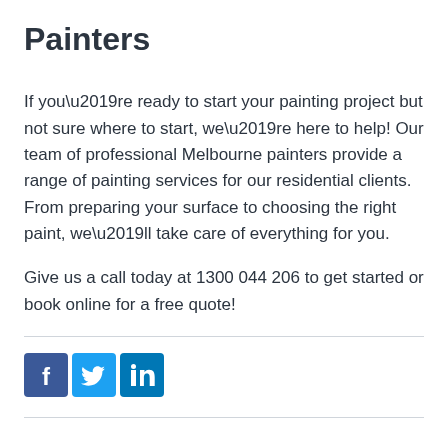Painters
If you’re ready to start your painting project but not sure where to start, we’re here to help! Our team of professional Melbourne painters provide a range of painting services for our residential clients. From preparing your surface to choosing the right paint, we’ll take care of everything for you.
Give us a call today at 1300 044 206 to get started or book online for a free quote!
[Figure (logo): Social media icons: Facebook, Twitter, LinkedIn]